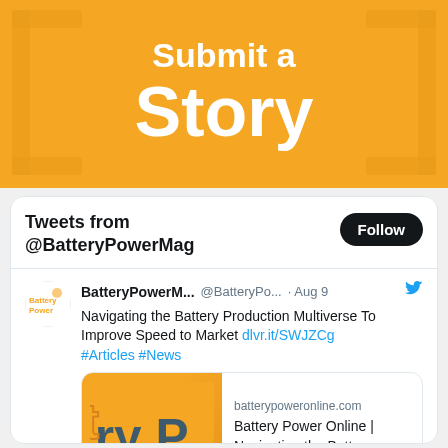[Figure (infographic): Orange banner with bracket decorations and white text reading 'Submit a Story']
Tweets from @BatteryPowerMag
Follow
BatteryPowerM... @BatteryPo... · Aug 9
Navigating the Battery Production Multiverse To Improve Speed to Market dlvr.it/SWJZCg #Articles #News
[Figure (screenshot): Link preview card showing batterypoweronline.com — Battery Power Online | Navigating the Battery ...]